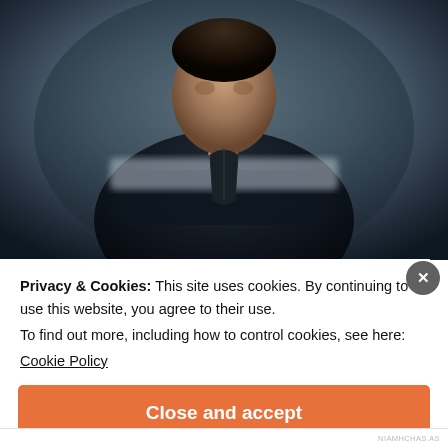[Figure (photo): A young man with dark hair looking directly at the camera, wearing a dark jacket with a zipper. He is holding or standing behind a camera. The background is a blurred grey/blue wall. A blurred bar appears across the middle of the image.]
Privacy & Cookies: This site uses cookies. By continuing to use this website, you agree to their use.
To find out more, including how to control cookies, see here:
Cookie Policy
Close and accept